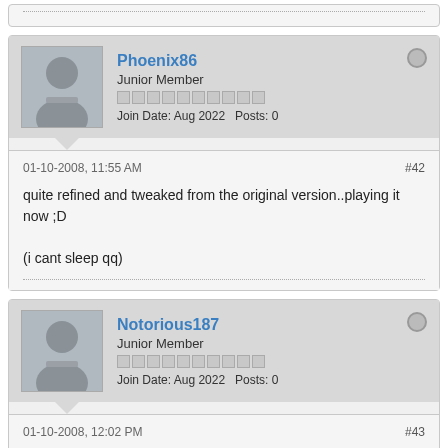[Figure (screenshot): Partial top of a previous forum post (clipped at top of page)]
Phoenix86
Junior Member
Join Date: Aug 2022   Posts: 0
01-10-2008, 11:55 AM
#42
quite refined and tweaked from the original version..playing it now ;D

(i cant sleep qq)
Notorious187
Junior Member
Join Date: Aug 2022   Posts: 0
01-10-2008, 12:02 PM
#43
I don't think Grinchy meant it as a criticism of your guys work, it's much appreciated believe me - there might be framerate drops in places, but